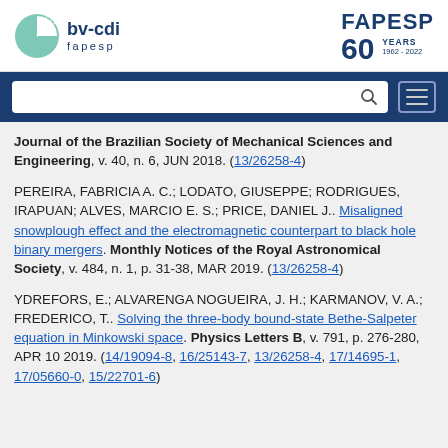bv-cdi fapesp | FAPESP 60 YEARS 1962-2022
Journal of the Brazilian Society of Mechanical Sciences and Engineering, v. 40, n. 6, JUN 2018. (13/26258-4)
PEREIRA, FABRICIA A. C.; LODATO, GIUSEPPE; RODRIGUES, IRAPUAN; ALVES, MARCIO E. S.; PRICE, DANIEL J.. Misaligned snowplough effect and the electromagnetic counterpart to black hole binary mergers. Monthly Notices of the Royal Astronomical Society, v. 484, n. 1, p. 31-38, MAR 2019. (13/26258-4)
YDREFORS, E.; ALVARENGA NOGUEIRA, J. H.; KARMANOV, V. A.; FREDERICO, T.. Solving the three-body bound-state Bethe-Salpeter equation in Minkowski space. Physics Letters B, v. 791, p. 276-280, APR 10 2019. (14/19094-8, 16/25143-7, 13/26258-4, 17/14695-1, 17/05660-0, 15/22701-6)